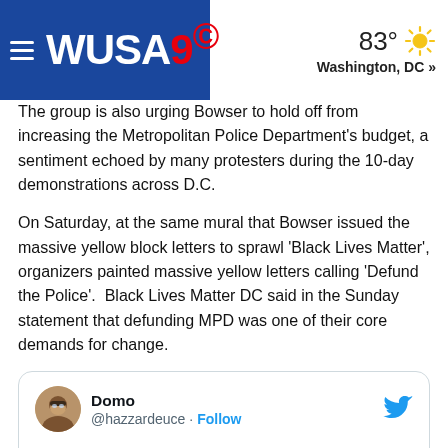WUSA9 | 83° Washington, DC »
The group is also urging Bowser to hold off from increasing the Metropolitan Police Department's budget, a sentiment echoed by many protesters during the 10-day demonstrations across D.C.
On Saturday, at the same mural that Bowser issued the massive yellow block letters to sprawl 'Black Lives Matter', organizers painted massive yellow letters calling 'Defund the Police'.  Black Lives Matter DC said in the Sunday statement that defunding MPD was one of their core demands for change.
[Figure (screenshot): Embedded tweet from @hazzardeuce (Domo) with text: 'Fixed it for ya @MayorBowser! As long as there are police, there will']